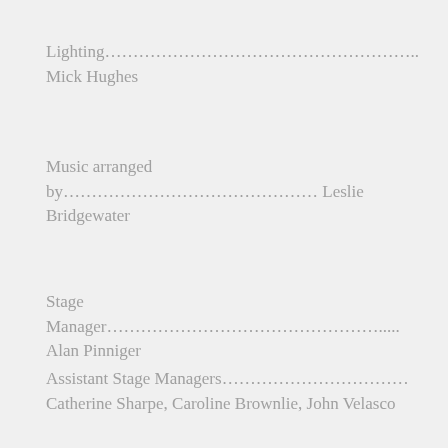Lighting……………………………………………….. Mick Hughes
Music arranged by……………………………………… Leslie Bridgewater
Stage Manager…………………………………………..... Alan Pinniger
Assistant Stage Managers…………………………… Catherine Sharpe, Caroline Brownlie, John Velasco